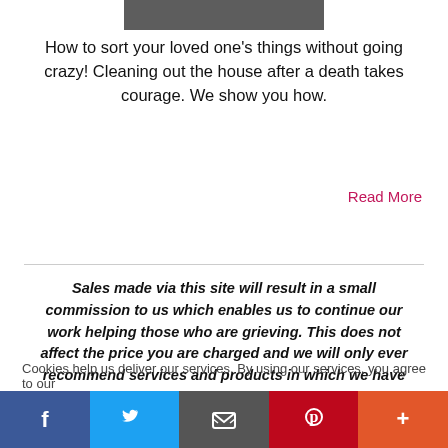[Figure (photo): Cropped photo at top of page, dark/muted tones]
How to sort your loved one's things without going crazy! Cleaning out the house after a death takes courage. We show you how.
Read More
Sales made via this site will result in a small commission to us which enables us to continue our work helping those who are grieving. This does not affect the price you are charged and we will only ever recommend services and products in which we have complete faith.
Cookies help us deliver our services. By using our services, you agree to our
[Figure (infographic): Social sharing bar with Facebook, Twitter, Email, Pinterest, and More buttons]